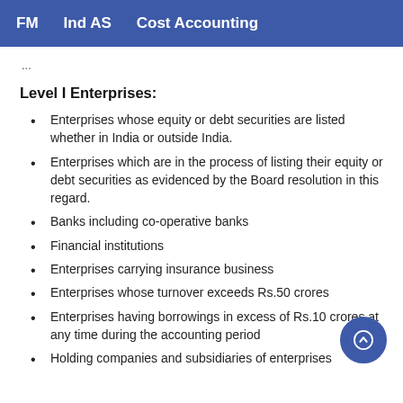FM   Ind AS   Cost Accounting
Level I Enterprises:
Enterprises whose equity or debt securities are listed whether in India or outside India.
Enterprises which are in the process of listing their equity or debt securities as evidenced by the Board resolution in this regard.
Banks including co-operative banks
Financial institutions
Enterprises carrying insurance business
Enterprises whose turnover exceeds Rs.50 crores
Enterprises having borrowings in excess of Rs.10 crores at any time during the accounting period
Holding companies and subsidiaries of enterprises